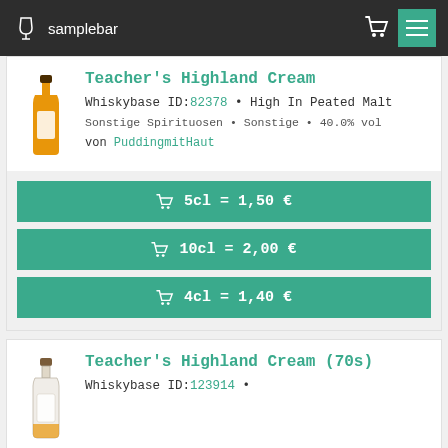samplebar
Teacher's Highland Cream
Whiskybase ID:82378 • High In Peated Malt
Sonstige Spirituosen • Sonstige • 40.0% vol
von PuddingmitHaut
🛒 5cl = 1,50 €
🛒 10cl = 2,00 €
🛒 4cl = 1,40 €
Teacher's Highland Cream (70s)
Whiskybase ID:123914 •